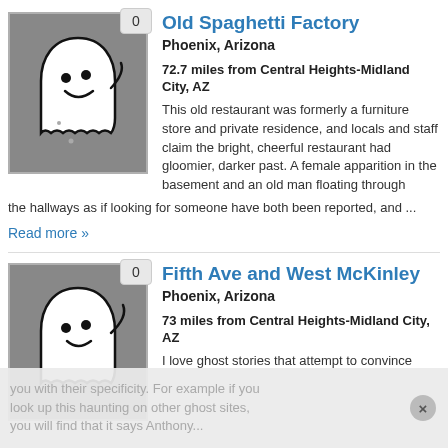[Figure (illustration): Ghost cartoon icon on gray background with badge showing 0]
Old Spaghetti Factory
Phoenix, Arizona
72.7 miles from Central Heights-Midland City, AZ
This old restaurant was formerly a furniture store and private residence, and locals and staff claim the bright, cheerful restaurant had gloomier, darker past. A female apparition in the basement and an old man floating through the hallways as if looking for someone have both been reported, and ...
Read more »
[Figure (illustration): Ghost cartoon icon on gray background with badge showing 0]
Fifth Ave and West McKinley
Phoenix, Arizona
73 miles from Central Heights-Midland City, AZ
I love ghost stories that attempt to convince you with their specificity. For example if you look up this haunting on other ghost sites, you will find that it says Anthony...